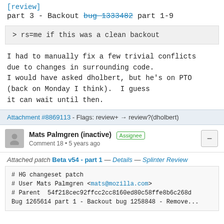[review]
part 3 - Backout bug 1333482 part 1-9
> rs=me if this was a clean backout
I had to manually fix a few trivial conflicts due to changes in surrounding code.
I would have asked dholbert, but he's on PTO (back on Monday I think).  I guess it can wait until then.
Attachment #8869113 - Flags: review+ → review?(dholbert)
Mats Palmgren (inactive) Assignee
Comment 18 • 5 years ago
Attached patch Beta v54 - part 1 — Details — Splinter Review
# HG changeset patch
# User Mats Palmgren <mats@mozilla.com>
# Parent  54f218cec92ffcc2cc8160ed80c58ffe8b6c268d
Bug 1265614 part 1 - Backout bug 1258848 - Remove...